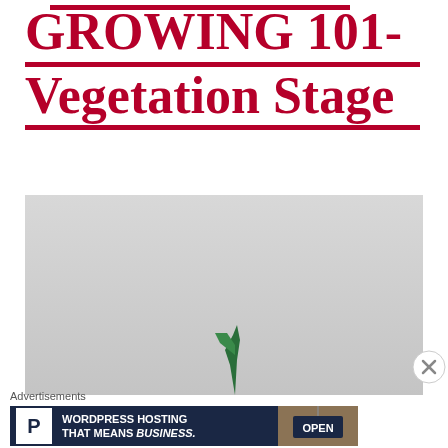GROWING 101- Vegetation Stage
[Figure (photo): A plant seedling emerging from soil against a light grey background, showing a small green shoot.]
Advertisements
[Figure (infographic): Advertisement banner for WordPress Hosting with Pressable logo, text 'WORDPRESS HOSTING THAT MEANS BUSINESS.' and an image of an OPEN sign.]